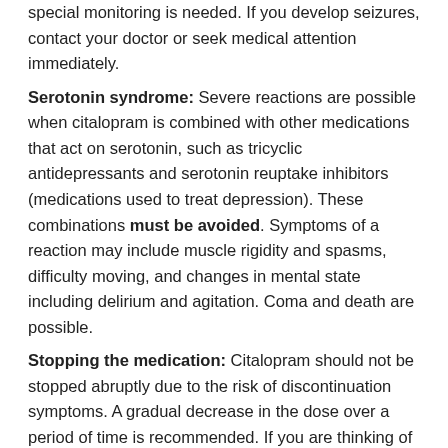special monitoring is needed. If you develop seizures, contact your doctor or seek medical attention immediately.
Serotonin syndrome: Severe reactions are possible when citalopram is combined with other medications that act on serotonin, such as tricyclic antidepressants and serotonin reuptake inhibitors (medications used to treat depression). These combinations must be avoided. Symptoms of a reaction may include muscle rigidity and spasms, difficulty moving, and changes in mental state including delirium and agitation. Coma and death are possible.
Stopping the medication: Citalopram should not be stopped abruptly due to the risk of discontinuation symptoms. A gradual decrease in the dose over a period of time is recommended. If you are thinking of stopping the medication, talk to your doctor or pharmacist about how to do this safely.
Suicidal or agitated behaviour: People taking this medication may feel agitated (restless, anxious, aggressive, emotional, and feeling not like themselves) or they may want to hurt